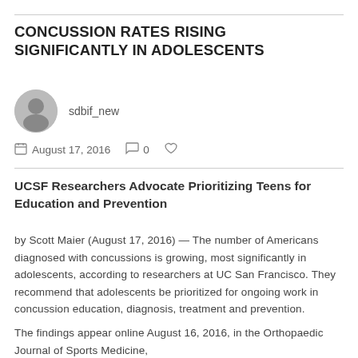CONCUSSION RATES RISING SIGNIFICANTLY IN ADOLESCENTS
sdbif_new
August 17, 2016  0
UCSF Researchers Advocate Prioritizing Teens for Education and Prevention
by Scott Maier (August 17, 2016) — The number of Americans diagnosed with concussions is growing, most significantly in adolescents, according to researchers at UC San Francisco. They recommend that adolescents be prioritized for ongoing work in concussion education, diagnosis, treatment and prevention.
The findings appear online August 16, 2016, in the Orthopaedic Journal of Sports Medicine,